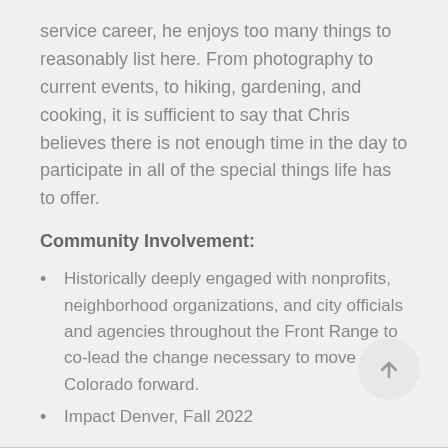service career, he enjoys too many things to reasonably list here. From photography to current events, to hiking, gardening, and cooking, it is sufficient to say that Chris believes there is not enough time in the day to participate in all of the special things life has to offer.
Community Involvement:
Historically deeply engaged with nonprofits, neighborhood organizations, and city officials and agencies throughout the Front Range to co-lead the change necessary to move Colorado forward.
Impact Denver, Fall 2022